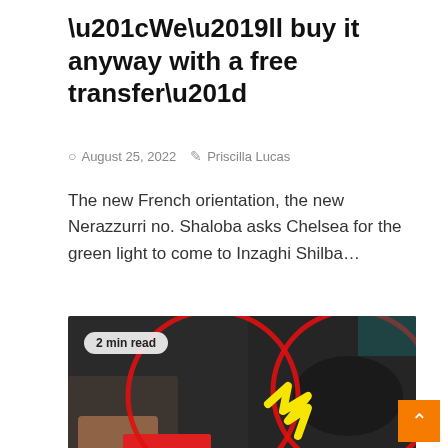“We’ll buy it anyway with a free transfer”
○ August 25, 2022   ✎ Priscilla Lucas
The new French orientation, the new Nerazzurri no. Shaloba asks Chelsea for the green light to come to Inzaghi Shilba…
[Figure (photo): Photo of a hand holding or pressing red tape/adhesive strip against a dark car interior panel. Overlaid with red circles and a yellow arrow graphic. A badge reading '2 min read' appears in the top-left corner of the image. An orange back-to-top button with a caret is in the bottom-right.]